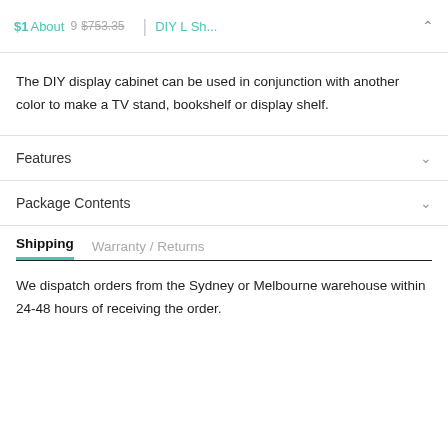$1 About 9 $753.35 | DIY L Sh...
The DIY display cabinet can be used in conjunction with another color to make a TV stand, bookshelf or display shelf.
Features
Package Contents
Shipping  Warranty / Returns
We dispatch orders from the Sydney or Melbourne warehouse within 24-48 hours of receiving the order.